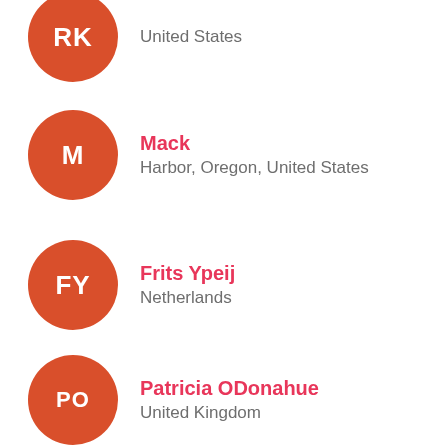RK – United States
Mack – Harbor, Oregon, United States
Frits Ypeij – Netherlands
Patricia ODonahue – United Kingdom
Lurch – United States
Dan Winetsky – United States